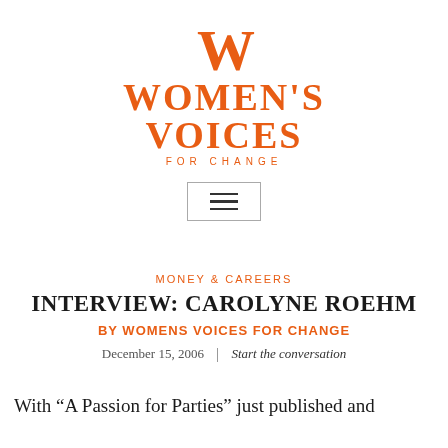[Figure (logo): Women's Voices For Change logo with orange W monogram above stylized serif text WOMEN'S VOICES FOR CHANGE]
[Figure (other): Hamburger menu icon (three horizontal lines) inside a rectangular border]
MONEY & CAREERS
INTERVIEW: CAROLYNE ROEHM
BY WOMENS VOICES FOR CHANGE
December 15, 2006  |  Start the conversation
With “A Passion for Parties” just published and